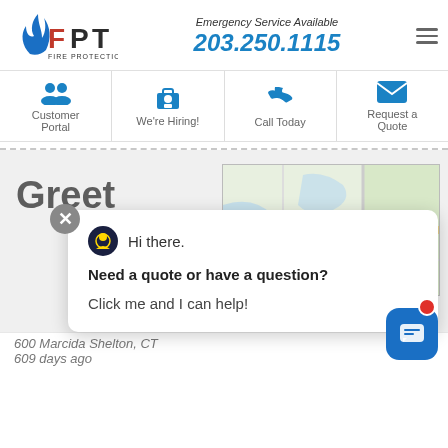[Figure (logo): FPT Fire Protection Team logo with stylized flame and letters F P T in blue, red and black, with text FIRE PROTECTION TEAM below]
Emergency Service Available
203.250.1115
Customer Portal
We're Hiring!
Call Today
Request a Quote
[Figure (screenshot): A chat popup overlay on a webpage showing 'Hi there. Need a quote or have a question? Click me and I can help!' with a map in the background and a blue chat button with red dot in the corner]
Hi there.
Need a quote or have a question?
Click me and I can help!
600 Marcida   Shelton, CT
609 days ago